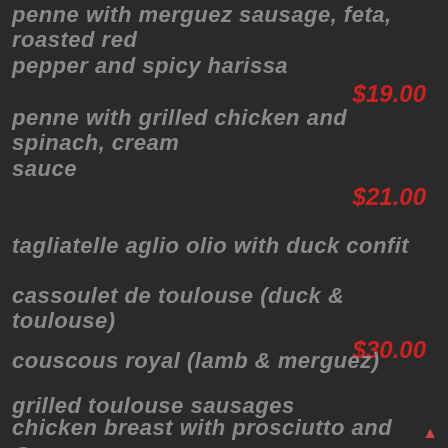penne with merguez sausage, feta, roasted red pepper and spicy harissa  $19.00
penne with grilled chicken and spinach, cream sauce  $21.00
tagliatelle aglio olio with duck confit  $24.00
cassoulet de toulouse (duck & toulouse)  $30.00
couscous royal (lamb & merguez)  $34.00
grilled toulouse sausages  $19.50
chicken breast with prosciutto and sage,